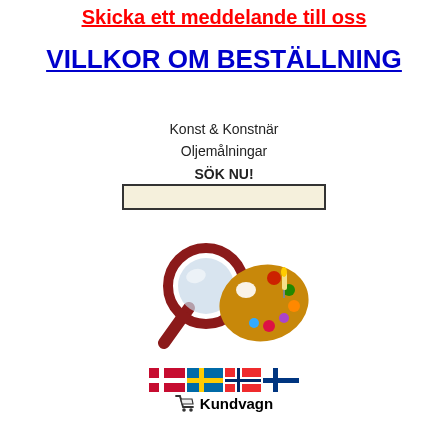Skicka ett meddelande till oss
VILLKOR OM BESTÄLLNING
Konst & Konstnär
Oljemålningar
SÖK NU!
[Figure (illustration): A search/magnifying glass icon next to a painter's palette with colorful paint spots]
[Figure (infographic): Nordic country flags (Denmark, Sweden, Norway, Finland) followed by a shopping cart icon and the text Kundvagn]